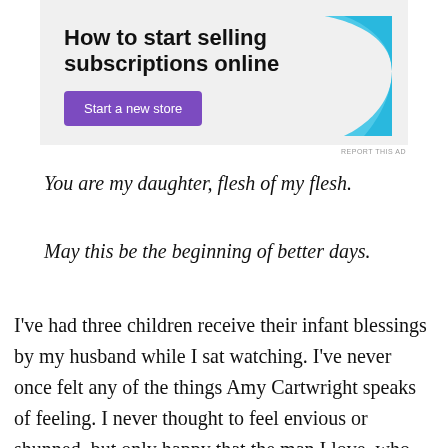[Figure (other): Advertisement banner with text 'How to start selling subscriptions online', a purple 'Start a new store' button, and a cyan decorative graphic shape on the right side]
REPORT THIS AD
You are my daughter, flesh of my flesh.
May this be the beginning of better days.
I've had three children receive their infant blessings by my husband while I sat watching. I've never once felt any of the things Amy Cartwright speaks of feeling. I never thought to feel envious or shunned, but only happy that the man I love, who didn't get to carry our children in the womb, got to lay his hands on their